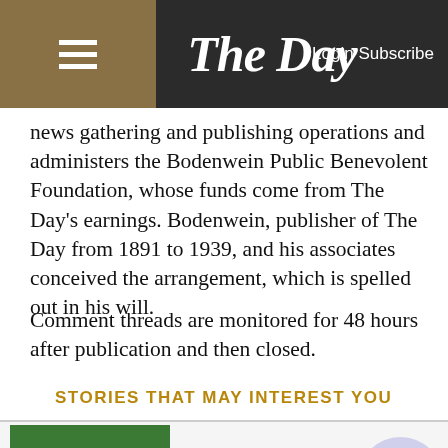The Day | Login Subscribe
news gathering and publishing operations and administers the Bodenwein Public Benevolent Foundation, whose funds come from The Day's earnings. Bodenwein, publisher of The Day from 1891 to 1939, and his associates conceived the arrangement, which is spelled out in his will.
Comment threads are monitored for 48 hours after publication and then closed.
STORIES THAT MAY INTEREST YOU
[Figure (screenshot): Groupon advertisement banner: Groupon Official Site | Online Shopping Deals. Discover & Save with Over 300k of the Best Deals. www.groupon.com]